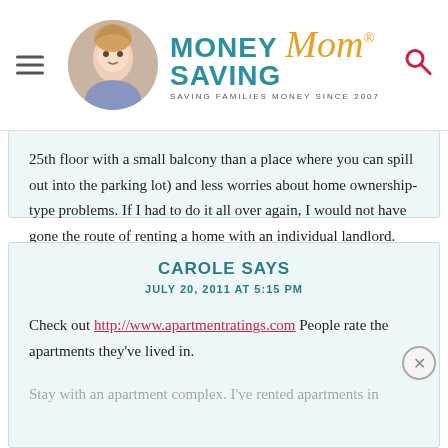MONEY SAVING Mom® — SAVING FAMILIES MONEY SINCE 2007
25th floor with a small balcony than a place where you can spill out into the parking lot) and less worries about home ownership-type problems. If I had to do it all over again, I would not have gone the route of renting a home with an individual landlord. The space is AWESOME, but all the other headaches exceed that plus.
CAROLE SAYS
JULY 20, 2011 AT 5:15 PM
Check out http://www.apartmentratings.com People rate the apartments they've lived in.
Stay with an apartment complex. I've rented apartments in